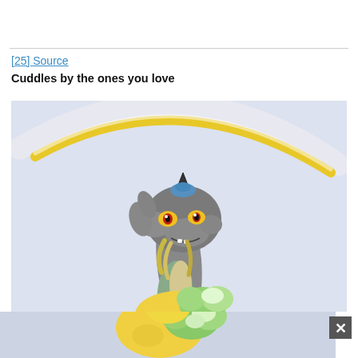[25] Source
Cuddles by the ones you love
[Figure (illustration): Hand-drawn illustration of a dragon-like creature (Discord-style character) with gray body, yellow eyes with red pupils, yellow mane details, and blue horn accessories. A large yellow and white arc sweeps across the upper background (light blue/lavender). The creature looks forward with a grinning expression. Below, a yellow pony figure with green and white cloud-like mane is partially visible.]
[Figure (illustration): Bottom strip showing continuation of the illustration — lower portion of yellow pony with colorful mane on a light blue background.]